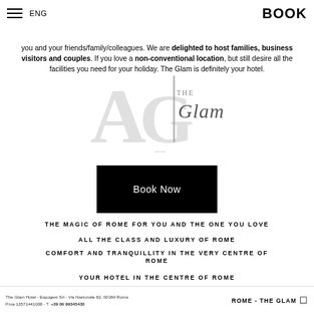ENG   BOOK
you and your friends/family/colleagues. We are delighted to host families, business visitors and couples. If you love a non-conventional location, but still desire all the facilities you need for your holiday. The Glam is definitely your hotel.
[Figure (logo): The Glam Hotel logo — stylized AG letters with 'THE Glam' text overlay]
Book Now
THE MAGIC OF ROME FOR YOU AND THE ONE YOU LOVE
ALL THE CLASS AND LUXURY OF ROME
COMFORT AND TRANQUILLITY IN THE VERY CENTRE OF ROME
YOUR HOTEL IN THE CENTRE OF ROME
The Glam Hotel - Espogest Srl - Via Nazionale 82, 00184 Roma
P.iva 13571441008 - T. +39 06 99345430
ROME - THE GLAM